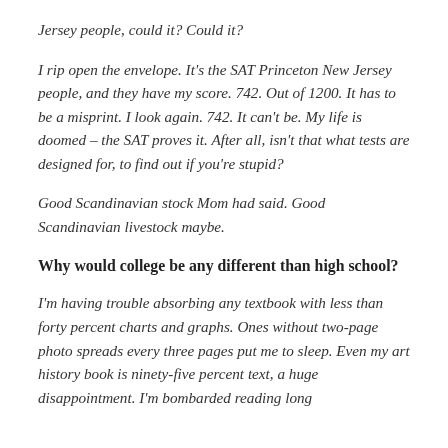Jersey people, could it? Could it?
I rip open the envelope. It's the SAT Princeton New Jersey people, and they have my score. 742. Out of 1200. It has to be a misprint. I look again. 742. It can't be. My life is doomed – the SAT proves it. After all, isn't that what tests are designed for, to find out if you're stupid?
Good Scandinavian stock Mom had said. Good Scandinavian livestock maybe.
Why would college be any different than high school?
I'm having trouble absorbing any textbook with less than forty percent charts and graphs. Ones without two-page photo spreads every three pages put me to sleep. Even my art history book is ninety-five percent text, a huge disappointment. I'm bombarded reading long...